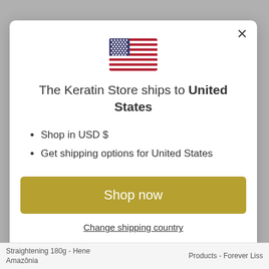[Figure (illustration): US flag emoji/icon displayed centered in the modal dialog]
The Keratin Store ships to United States
Shop in USD $
Get shipping options for United States
Shop now
Change shipping country
Straightening 180g - Hene Amazônia   Products - Forever Liss